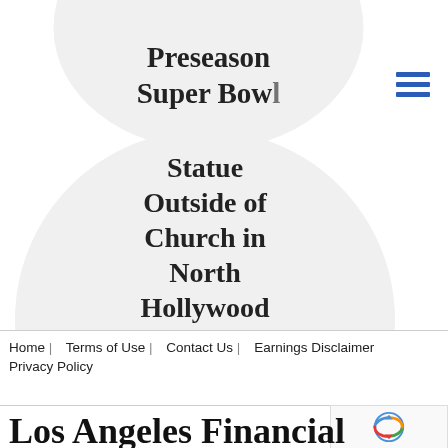[Figure (illustration): Partial circular bubble at top showing bold serif text 'Preseason Super Bowl']
[Figure (illustration): Large circular bubble showing bold serif text 'Statue Outside of Church in North Hollywood is Vandalized NBC Lo...']
[Figure (other): Hamburger menu icon (three horizontal blue lines) in top right corner]
Home   Terms of Use   Contact Us   Earnings Disclaimer   Privacy Policy
[Figure (other): reCAPTCHA badge with rotating arrows icon and 'Privacy - Terms' text]
Los Angeles Financial times